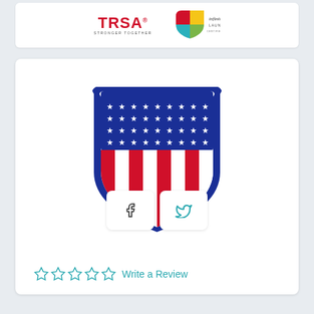[Figure (logo): TRSA logo with red text 'TRSA' and tagline 'STRONGER TOGETHER', alongside Infinite Laundry colorful shield logo]
[Figure (logo): American flag shield logo with blue field of white stars on top and red/white vertical stripes on bottom portion]
[Figure (infographic): Facebook and Twitter social sharing buttons]
Write a Review